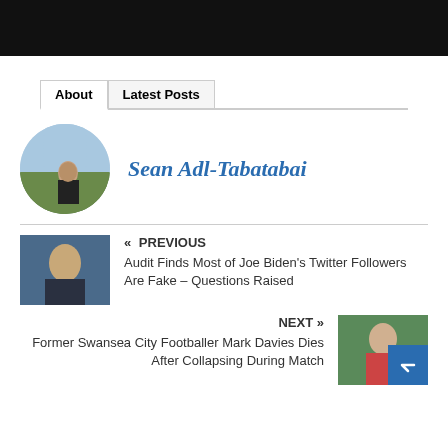[Figure (photo): Black banner/header bar at top of webpage]
About | Latest Posts
Sean Adl-Tabatabai
[Figure (photo): Circular profile photo of a person standing outdoors in a field]
« PREVIOUS
Audit Finds Most of Joe Biden's Twitter Followers Are Fake – Questions Raised
NEXT »
Former Swansea City Footballer Mark Davies Dies After Collapsing During Match